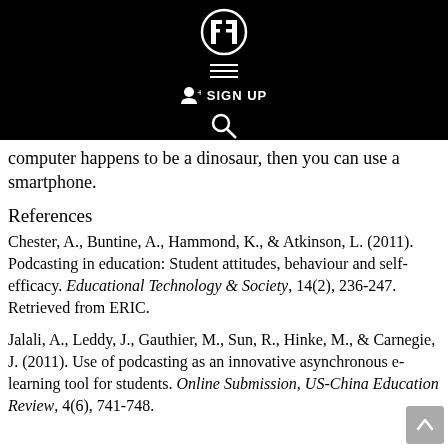[Figure (screenshot): Black header bar with a logo icon (FF monogram style), hamburger menu lines, SIGN UP button with person icon, and a search icon]
computer happens to be a dinosaur, then you can use a smartphone.
References
Chester, A., Buntine, A., Hammond, K., & Atkinson, L. (2011). Podcasting in education: Student attitudes, behaviour and self-efficacy. Educational Technology & Society, 14(2), 236-247. Retrieved from ERIC.
Jalali, A., Leddy, J., Gauthier, M., Sun, R., Hinke, M., & Carnegie, J. (2011). Use of podcasting as an innovative asynchronous e-learning tool for students. Online Submission, US-China Education Review, 4(6), 741-748.